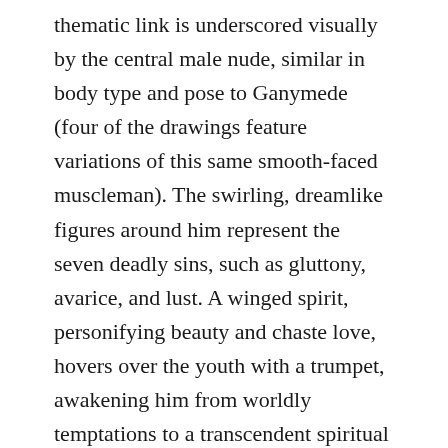thematic link is underscored visually by the central male nude, similar in body type and pose to Ganymede (four of the drawings feature variations of this same smooth-faced muscleman). The swirling, dreamlike figures around him represent the seven deadly sins, such as gluttony, avarice, and lust. A winged spirit, personifying beauty and chaste love, hovers over the youth with a trumpet, awakening him from worldly temptations to a transcendent spiritual life. It is difficult to find a precise, literal meaning for this complex allegory, but that was the point: presentation drawings were designed to provoke careful examination and learned discussion, another form of communion between donor and receiver. On a more poetic plane, however, it